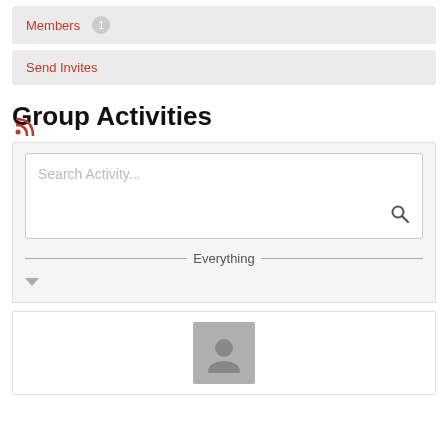Members 1
Send Invites
Group Activities
Search Activity...
— Everything —
[Figure (other): User avatar placeholder icon inside a profile card at the bottom of the page]